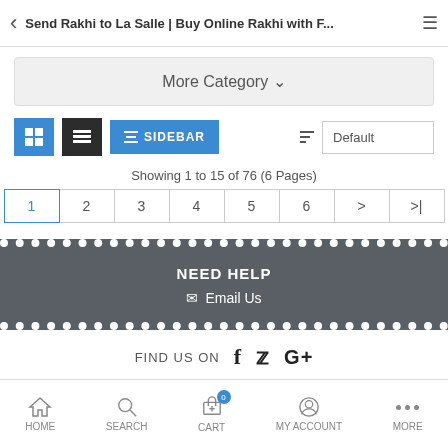Send Rakhi to La Salle | Buy Online Rakhi with F...
More Category ∨
[Figure (screenshot): Toolbar with grid view, list view, sidebar button and default sort dropdown]
Showing 1 to 15 of 76 (6 Pages)
Pagination: 1 2 3 4 5 6 > >|
NEED HELP
✉ Email Us
FIND US ON f t G+
HOME  SEARCH  CART  MY ACCOUNT  MORE